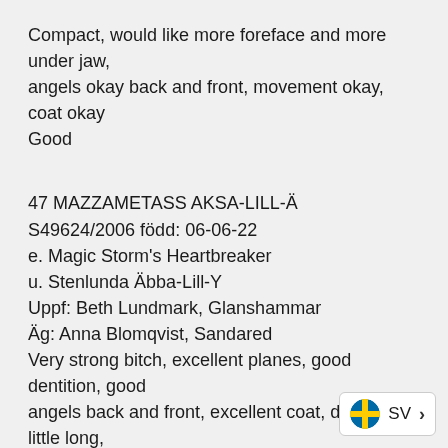Compact, would like more foreface and more under jaw, angels okay back and front, movement okay, coat okay
Good
47 MAZZAMETASS AKSA-LILL-Ä
S49624/2006 född: 06-06-22
e. Magic Storm's Heartbreaker
u. Stenlunda Äbba-Lill-Y
Uppf: Beth Lundmark, Glanshammar
Äg: Anna Blomqvist, Sandared
Very strong bitch, excellent planes, good dentition, good angels back and front, excellent coat, dark eye, little long, strong top line on the move, nice side gait
Very good